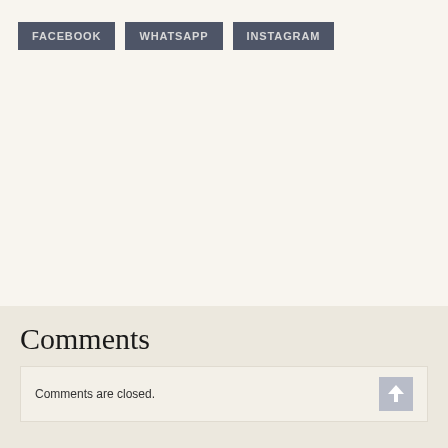[Figure (other): Three social sharing buttons: FACEBOOK, WHATSAPP, INSTAGRAM in dark slate color]
Comments
Comments are closed.